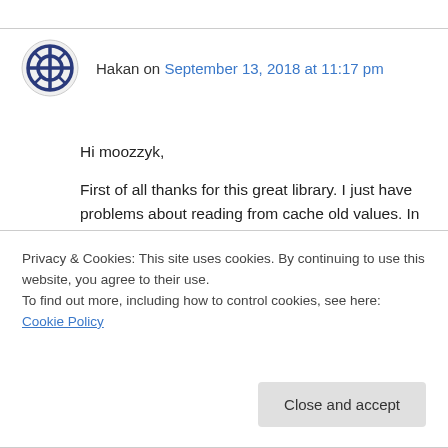Hakan on September 13, 2018 at 11:17 pm
Hi moozzyk,
First of all thanks for this great library. I just have problems about reading from cache old values. In my scenario in our project, I read a data from db (without transaction) and it’s started to be stored in cache and then later i update a field of the same record (with a transaction) and then later i started to read same record(without
Privacy & Cookies: This site uses cookies. By continuing to use this website, you agree to their use.
To find out more, including how to control cookies, see here: Cookie Policy
doesn’t invalidate. I just tried to initialize the